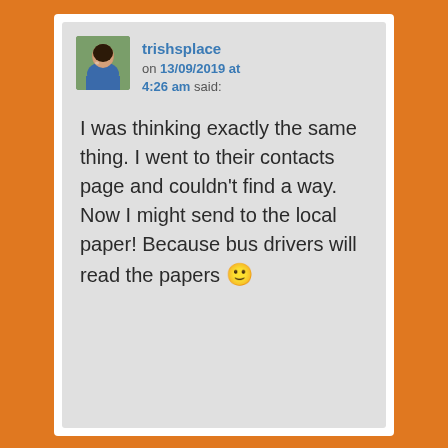[Figure (photo): Avatar photo of a woman outdoors, with greenery in background]
trishsplace on 13/09/2019 at 4:26 am said:
I was thinking exactly the same thing. I went to their contacts page and couldn't find a way. Now I might send to the local paper! Because bus drivers will read the papers 🙂